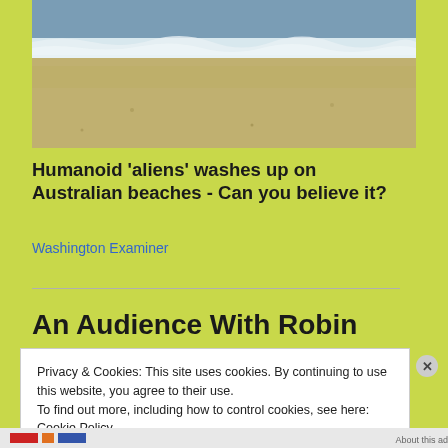[Figure (photo): Beach photo showing ocean waves at the top and sandy beach below, cropped at the bottom portion]
Humanoid 'aliens' washes up on Australian beaches - Can you believe it?
Washington Examiner
An Audience With Robin
Privacy & Cookies: This site uses cookies. By continuing to use this website, you agree to their use.
To find out more, including how to control cookies, see here: Cookie Policy
Close and accept